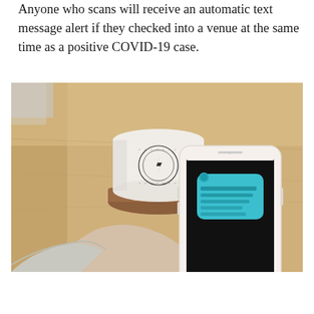Anyone who scans will receive an automatic text message alert if they checked into a venue at the same time as a positive COVID-19 case.
[Figure (photo): A hand holding a white iPhone displaying a text message notification on a dark screen, with a white ceramic coffee mug on a wooden coaster in the background on a wooden table.]